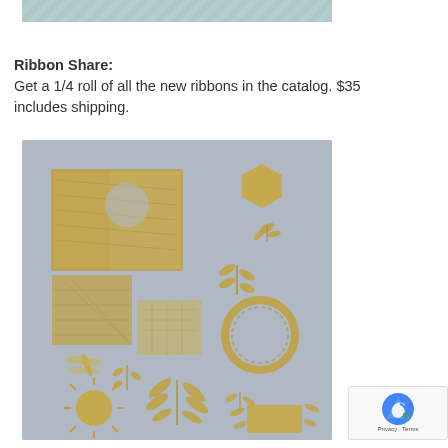[Figure (photo): Partial top photo showing teal/mint patterned ribbon on white background, cropped at top of page]
Ribbon Share:
Get a 1/4 roll of all the new ribbons in the catalog. $35 includes shipping.
[Figure (photo): Photo of gold metallic die-cut embellishments on gray background including leaf patterns, hexagon, wreath, fern, sun, dragonfly, and rectangle shapes arranged on a flat surface]